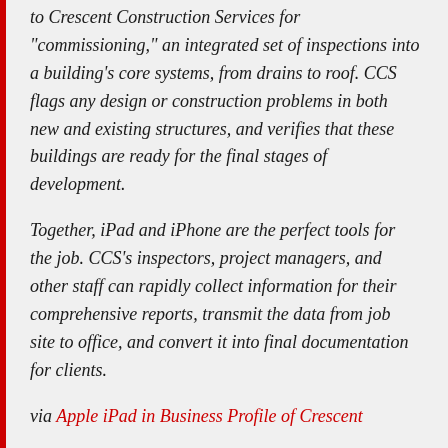to Crescent Construction Services for "commissioning," an integrated set of inspections into a building's core systems, from drains to roof. CCS flags any design or construction problems in both new and existing structures, and verifies that these buildings are ready for the final stages of development.
Together, iPad and iPhone are the perfect tools for the job. CCS's inspectors, project managers, and other staff can rapidly collect information for their comprehensive reports, transmit the data from job site to office, and convert it into final documentation for clients.
via Apple iPad in Business Profile of Crescent